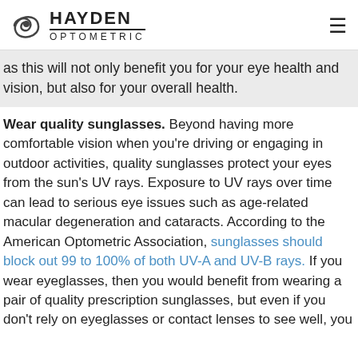HAYDEN OPTOMETRIC
as this will not only benefit you for your eye health and vision, but also for your overall health.
Wear quality sunglasses. Beyond having more comfortable vision when you're driving or engaging in outdoor activities, quality sunglasses protect your eyes from the sun's UV rays. Exposure to UV rays over time can lead to serious eye issues such as age-related macular degeneration and cataracts. According to the American Optometric Association, sunglasses should block out 99 to 100% of both UV-A and UV-B rays. If you wear eyeglasses, then you would benefit from wearing a pair of quality prescription sunglasses, but even if you don't rely on eyeglasses or contact lenses to see well, you